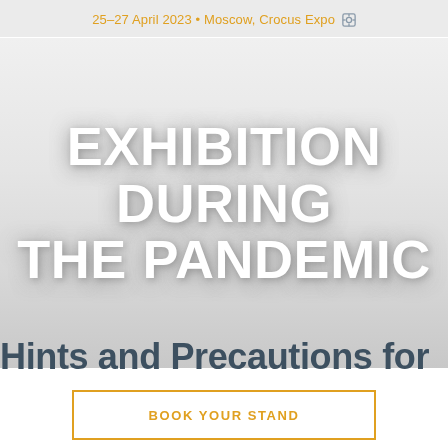25–27 April 2023 • Moscow, Crocus Expo
EXHIBITION DURING THE PANDEMIC
Hints and Precautions for
BOOK YOUR STAND